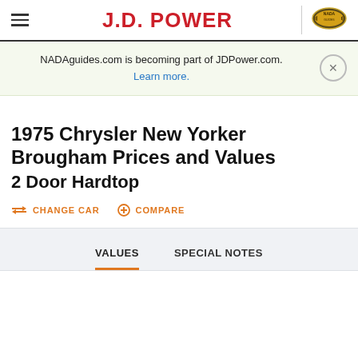J.D. POWER | NADA
NADAguides.com is becoming part of JDPower.com. Learn more.
1975 Chrysler New Yorker Brougham Prices and Values
2 Door Hardtop
CHANGE CAR   COMPARE
VALUES   SPECIAL NOTES